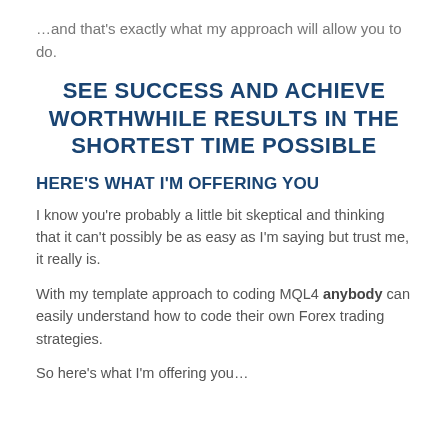…and that's exactly what my approach will allow you to do.
SEE SUCCESS AND ACHIEVE WORTHWHILE RESULTS IN THE SHORTEST TIME POSSIBLE
HERE'S WHAT I'M OFFERING YOU
I know you're probably a little bit skeptical and thinking that it can't possibly be as easy as I'm saying but trust me, it really is.
With my template approach to coding MQL4 anybody can easily understand how to code their own Forex trading strategies.
So here's what I'm offering you…